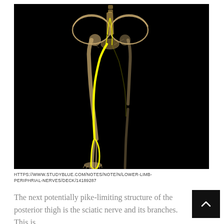[Figure (illustration): 3D anatomical illustration on black background showing the human lower limb skeleton (pelvis, femur, tibia, fibula, foot) with the sciatic nerve and its branches highlighted in bright yellow, running from the lumbar/sacral plexus down through the leg to the foot.]
HTTPS://WWW.STUDYBLUE.COM/NOTES/NOTE/N/LOWER-LIMB-PERIPHRIAL-NERVES/DECK/14189287
The next potentially pike-limiting structure of the posterior thigh is the sciatic nerve and its branches. This is